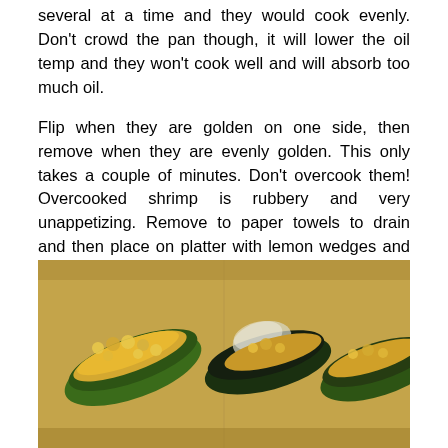several at a time and they would cook evenly. Don't crowd the pan though, it will lower the oil temp and they won't cook well and will absorb too much oil.
Flip when they are golden on one side, then remove when they are evenly golden. This only takes a couple of minutes. Don't overcook them! Overcooked shrimp is rubbery and very unappetizing. Remove to paper towels to drain and then place on platter with lemon wedges and garnish with Italian parsley.
Grilled Stuffed Jalapenos
[Figure (photo): Three grilled stuffed jalapenos on a tan/gold plate, topped with a cheesy, golden-brown filling. The peppers appear charred/dark green. Three peppers visible side by side.]